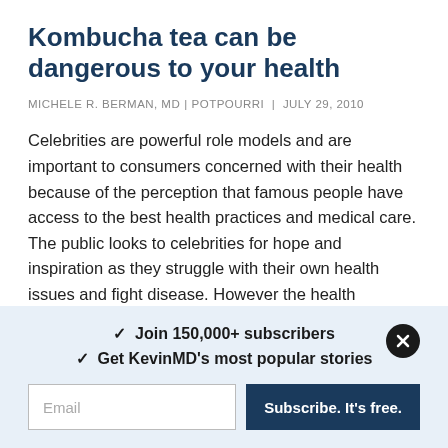Kombucha tea can be dangerous to your health
MICHELE R. BERMAN, MD | POTPOURRI | JULY 29, 2010
Celebrities are powerful role models and are important to consumers concerned with their health because of the perception that famous people have access to the best health practices and medical care. The public looks to celebrities for hope and inspiration as they struggle with their own health issues and fight disease. However the health practices that celebrities promote are often questionable and misleading.
One currently popular folk remedy, kombucha tea, is …
✓  Join 150,000+ subscribers
✓  Get KevinMD's most popular stories
Email
Subscribe. It's free.